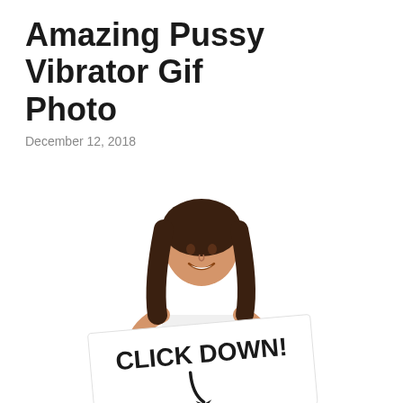Amazing Pussy Vibrator Gif Photo
December 12, 2018
[Figure (photo): A smiling young woman with long dark hair holding a large white sign that reads 'CLICK DOWN!' with a downward-pointing arrow, against a white background.]